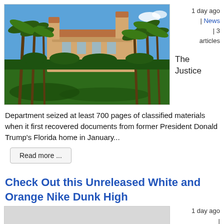[Figure (photo): Outdoor photo of a large estate or resort building (likely Mar-a-Lago) with palm trees, green lawn in the foreground, and blue sky with clouds]
1 day ago | News | 3 articles
The Justice
Department seized at least 700 pages of classified materials when it first recovered documents from former President Donald Trump's Florida home in January...
Read more ...
Check Out this Unreleased White and Orange Nike Dunk High
[Figure (photo): Partial photo of Nike Dunk High sneakers (white and orange colorway) — bottom portion cut off]
1 day ago |